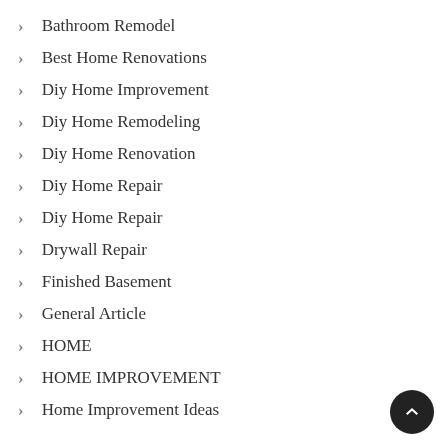Bathroom Remodel
Best Home Renovations
Diy Home Improvement
Diy Home Remodeling
Diy Home Renovation
Diy Home Repair
Diy Home Repair
Drywall Repair
Finished Basement
General Article
HOME
HOME IMPROVEMENT
Home Improvement Ideas